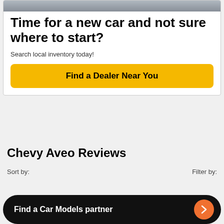[Figure (photo): Partial car image strip at the top of the advertisement card]
Time for a new car and not sure where to start?
Search local inventory today!
Find a Dealer Near You
Chevy Aveo Reviews
Sort by:
Filter by:
Find a Car Models partner